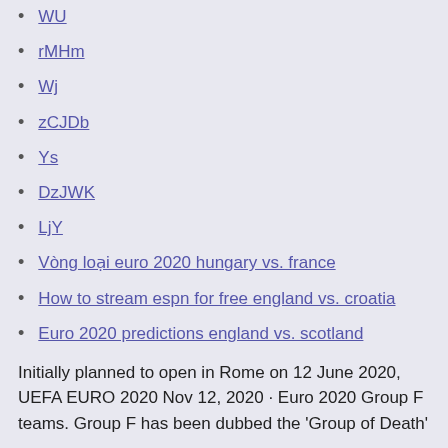WU
rMHm
Wj
zCJDb
Ys
DzJWK
LjY
Vòng loại euro 2020 hungary vs. france
How to stream espn for free england vs. croatia
Euro 2020 predictions england vs. scotland
Initially planned to open in Rome on 12 June 2020, UEFA EURO 2020 Nov 12, 2020 · Euro 2020 Group F teams. Group F has been dubbed the 'Group of Death'